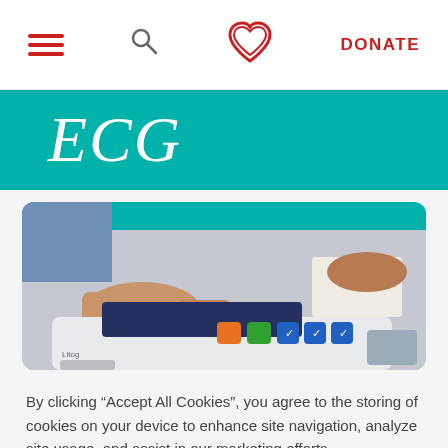Navigation bar with hamburger menu, search icon, heart logo, and DONATE button
ECG
[Figure (photo): Close-up of a hand pressing buttons on an ECG/electrocardiograph machine with colorful buttons (orange, green, blue) and a keyboard panel]
By clicking “Accept All Cookies”, you agree to the storing of cookies on your device to enhance site navigation, analyze site usage, and assist in our marketing efforts.